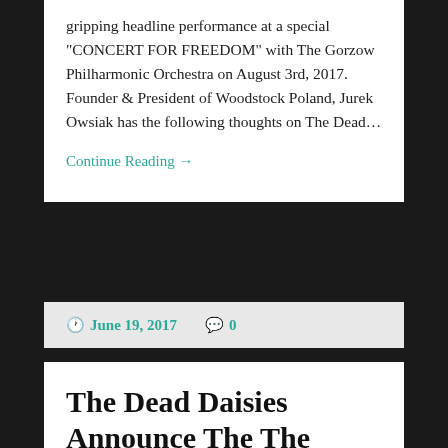gripping headline performance at a special “CONCERT FOR FREEDOM” with The Gorzow Philharmonic Orchestra on August 3rd, 2017. Founder & President of Woodstock Poland, Jurek Owsiak has the following thoughts on The Dead…
Continue Reading →
June 19, 2017   0
The Dead Daisies Announce The The Dirty Dozen Tour 2017
[Figure (photo): Photo showing 'THE DEAD' text in red lettering on a green background with decorative elements]